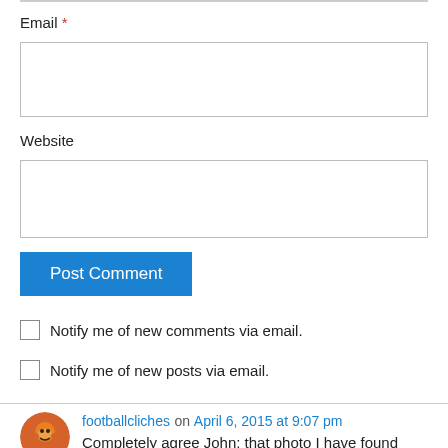Email *
Website
Post Comment
Notify me of new comments via email.
Notify me of new posts via email.
footballcliches on April 6, 2015 at 9:07 pm
Completely agree John: that photo I have found